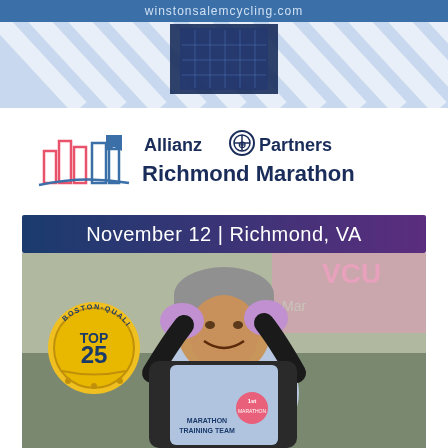[Figure (photo): Top banner showing winstonsalemcycling.com website header with blue and white striped background and a dark blue rectangular element in center]
[Figure (logo): Allianz Partners Richmond Marathon logo: pink and blue cityscape/building silhouette icon on left, text 'Allianz Partners' with Allianz logo symbol and 'Richmond Marathon' in dark blue below]
November 12 | Richmond, VA
[Figure (photo): Photo of a smiling female marathon runner wearing a grey beanie hat, pink/purple gloves, black long-sleeve shirt, and light blue Marathon Training Team vest. She has her hands on her head in a celebratory pose. In the lower left is a yellow circular badge reading 'BOSTON-QUALIFIER TOP 25'. Background shows VCU and marathon banners. She wears a pink '1st Marathon' sticker on her chest.]